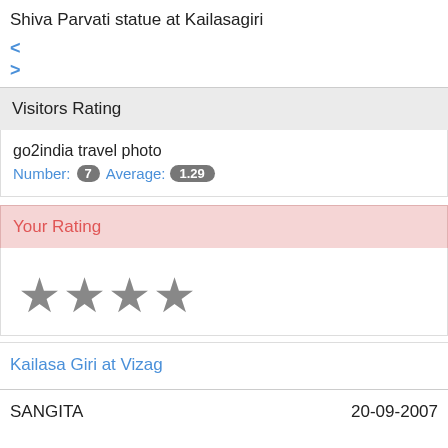Shiva Parvati statue at Kailasagiri
< >
Visitors Rating
go2india travel photo
Number: 7  Average: 1.29
Your Rating
[Figure (infographic): Four grey star icons representing a rating widget]
Kailasa Giri at Vizag
SANGITA    20-09-2007